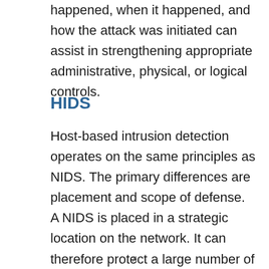happened, when it happened, and how the attack was initiated can assist in strengthening appropriate administrative, physical, or logical controls.
HIDS
Host-based intrusion detection operates on the same principles as NIDS. The primary differences are placement and scope of defense. A NIDS is placed in a strategic location on the network. It can therefore protect a large number of devices on the network or a network segment. A HIDS is
x